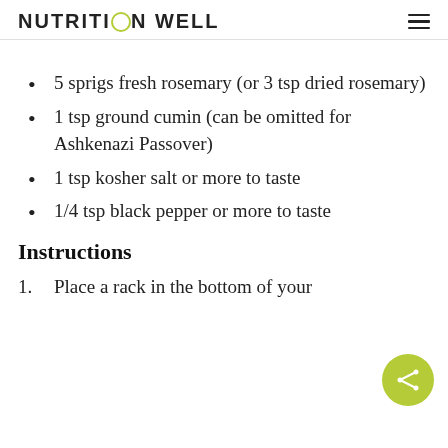NUTRITION WELL
5 sprigs fresh rosemary (or 3 tsp dried rosemary)
1 tsp ground cumin (can be omitted for Ashkenazi Passover)
1 tsp kosher salt or more to taste
1/4 tsp black pepper or more to taste
Instructions
1. Place a rack in the bottom of your